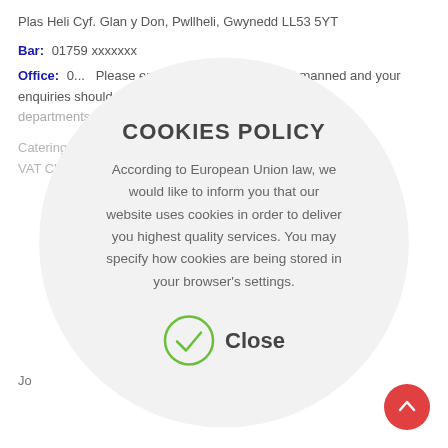Plas Heli Cyf. Glan y Don, Pwllheli, Gwynedd LL53 5YT
Bar: 01759 xxxxxx
Office: 0... Please ensure the telephone is not manned and your enquiries should be emailed to ensure efficiency. For departments see contact us here.
[Figure (infographic): Circular cookie policy overlay with title COOKIES POLICY, descriptive text about EU cookie law, and a green checkmark Close button]
Jo... as